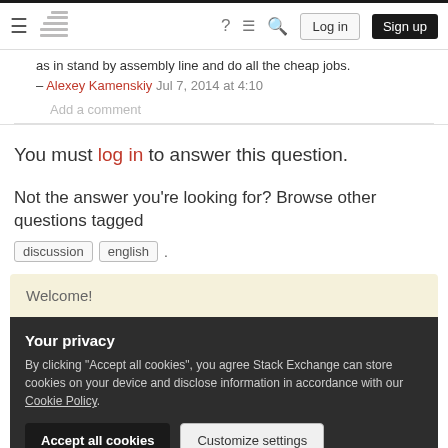Stack Exchange navigation bar with Log in and Sign up buttons
as in stand by assembly line and do all the cheap jobs. – Alexey Kamenskiy Jul 7, 2014 at 4:10
Add a comment
You must log in to answer this question.
Not the answer you're looking for? Browse other questions tagged discussion english .
Welcome!
Your privacy
By clicking "Accept all cookies", you agree Stack Exchange can store cookies on your device and disclose information in accordance with our Cookie Policy.
Accept all cookies
Customize settings